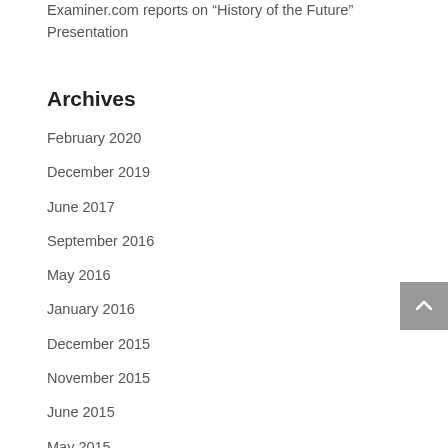Examiner.com reports on “History of the Future” Presentation
Archives
February 2020
December 2019
June 2017
September 2016
May 2016
January 2016
December 2015
November 2015
June 2015
May 2015
December 2014